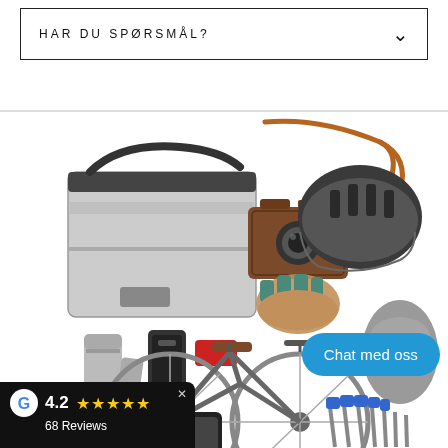HAR DU SPØRSMÅL?
[Figure (photo): Flat-lay product photo showing cycling and travel accessories: messenger bag, vintage camera with leather strap, bicycle helmet, fingerless gloves, bicycle lights, red accessory, thermos bottle, road bicycle, rain cover, phone, tools, and other items on white background.]
Chat med oss
4.2 ★★★★★ 68 Reviews